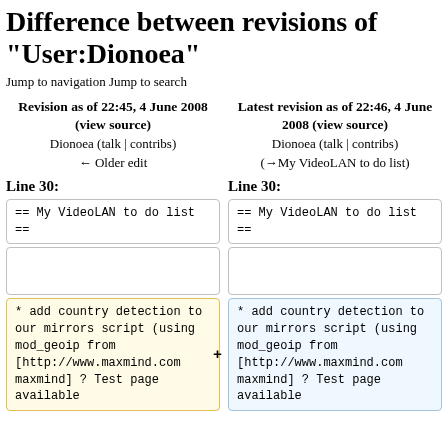Difference between revisions of "User:Dionoea"
Jump to navigation Jump to search
| Revision as of 22:45, 4 June 2008 (view source) | Latest revision as of 22:46, 4 June 2008 (view source) |
| --- | --- |
| Dionoea (talk | contribs)
← Older edit | Dionoea (talk | contribs)
(→My VideoLAN to do list) |
Line 30:
Line 30:
== My VideoLAN to do list ==
== My VideoLAN to do list ==
* add country detection to our mirrors script (using mod_geoip from [http://www.maxmind.com maxmind] ? Test page available
* add country detection to our mirrors script (using mod_geoip from [http://www.maxmind.com maxmind] ? Test page available